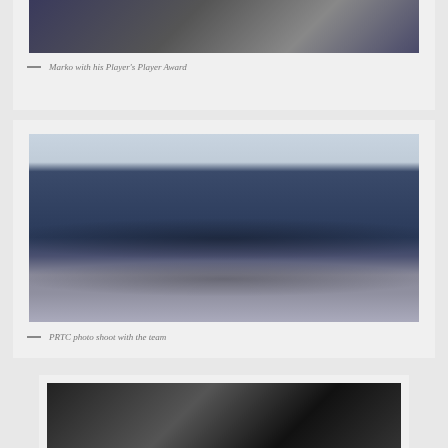[Figure (photo): Photo of Marko receiving his Player's Player Award, partially visible at top of page]
— Marko with his Player's Player Award
[Figure (photo): Group photo of PRTC team members in formal attire (suits and ties) posed in two rows in front of a branded backdrop in a conference/event room]
— PRTC photo shoot with the team
[Figure (photo): Partial photo at bottom of page, dark/silhouetted figures, partially cropped]